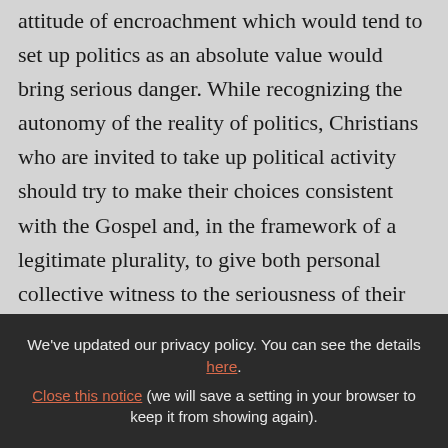attitude of encroachment which would tend to set up politics as an absolute value would bring serious danger. While recognizing the autonomy of the reality of politics, Christians who are invited to take up political activity should try to make their choices consistent with the Gospel and, in the framework of a legitimate plurality, to give both personal collective witness to the seriousness of their faith by effective and disinterested service of men.
We've updated our privacy policy. You can see the details here. Close this notice (we will save a setting in your browser to keep it from showing again).